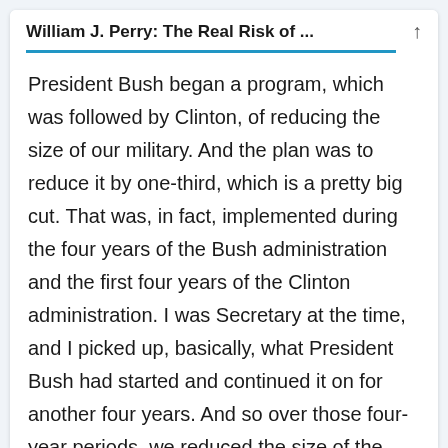William J. Perry: The Real Risk of ...
President Bush began a program, which was followed by Clinton, of reducing the size of our military. And the plan was to reduce it by one-third, which is a pretty big cut. That was, in fact, implemented during the four years of the Bush administration and the first four years of the Clinton administration. I was Secretary at the time, and I picked up, basically, what President Bush had started and continued it on for another four years. And so over those four-year periods, we reduced the size of the expenditures of the military about four percent a year, which over eight years amounted to about one-third. That stopped after I left office, and then the military